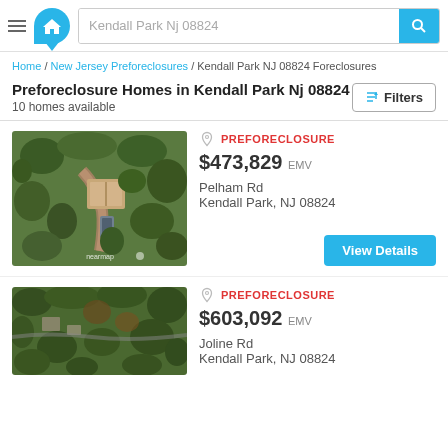Kendall Park Nj 08824 [search bar with logo]
Home / New Jersey Preforeclosures / Kendall Park NJ 08824 Foreclosures
Preforeclosure Homes in Kendall Park Nj 08824
10 homes available
PREFORECLOSURE
$473,829 EMV
Pelham Rd
Kendall Park, NJ 08824
[Figure (photo): Aerial satellite view of a property on Pelham Rd, Kendall Park NJ. Shows house surrounded by trees with nearmap watermark.]
PREFORECLOSURE
$603,092 EMV
Joline Rd
Kendall Park, NJ 08824
[Figure (photo): Aerial satellite view of a property on Joline Rd, Kendall Park NJ. Shows trees and structures from above.]